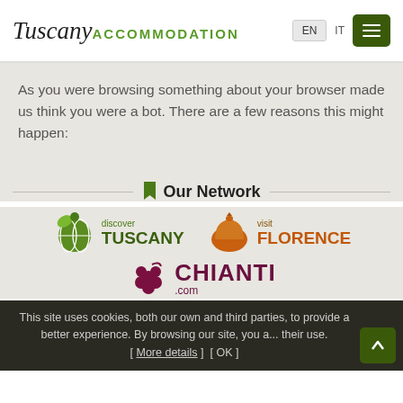Tuscany ACCOMMODATION  EN  IT
As you were browsing something about your browser made us think you were a bot. There are a few reasons this might happen:
Our Network
[Figure (logo): Discover Tuscany logo - green circular icon with globe and leaf motif, text 'discover TUSCANY' in green]
[Figure (logo): Visit Florence logo - orange dome/bell icon, text 'visit FLORENCE' in orange/brown]
[Figure (logo): Chianti.com logo - dark red grape cluster icon, text 'CHIANTI .com' in dark red/maroon]
This site uses cookies, both our own and third parties, to provide a better experience. By browsing our site, you a... their use. [ More details ]  [ OK ]